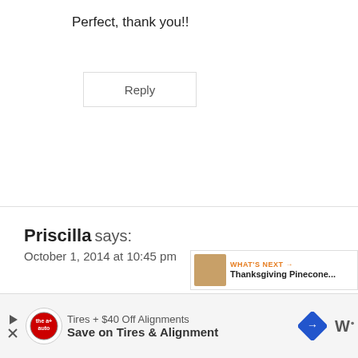Perfect, thank you!!
Reply
Priscilla says:
October 1, 2014 at 10:45 pm
My friend, who was going through breast cancer at the time, signed all of her website updates with “God is good, all the time, and all the time, God is good.”
[Figure (screenshot): Ad banner: Tires + $40 Off Alignments. Save on Tires & Alignment. The a+ auto logo and road sign icon visible.]